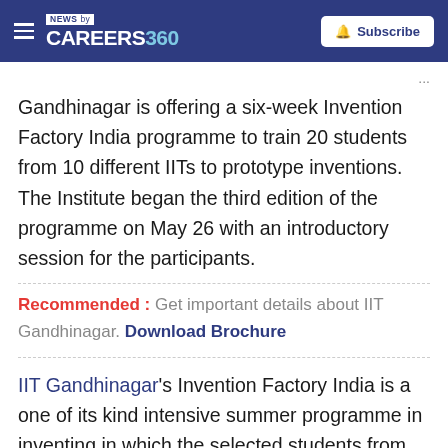NEWS by CAREERS 360 | Subscribe
Gandhinagar is offering a six-week Invention Factory India programme to train 20 students from 10 different IITs to prototype inventions. The Institute began the third edition of the programme on May 26 with an introductory session for the participants.
Recommended : Get important details about IIT Gandhinagar. Download Brochure
IIT Gandhinagar's Invention Factory India is a one of its kind intensive summer programme in inventing in which the selected students from IITs across the country conceive an invention, prototype it, pitch it,